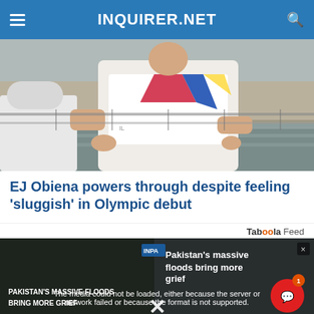INQUIRER.NET
[Figure (photo): Athlete in white Philippine national team vest leaning forward, likely a pole vaulter at an athletic track, another person partially visible on the left]
EJ Obiena powers through despite feeling 'sluggish' in Olympic debut
Taboola Feed
[Figure (screenshot): Bottom section showing a video media error message overlaid on a dark image of Pakistan floods, with text: 'The media could not be loaded, either because the server or network failed or because the format is not supported.' Pakistan's massive floods bring more grief headline visible. Chat notification button with badge showing 1. Large X close button at bottom center.]